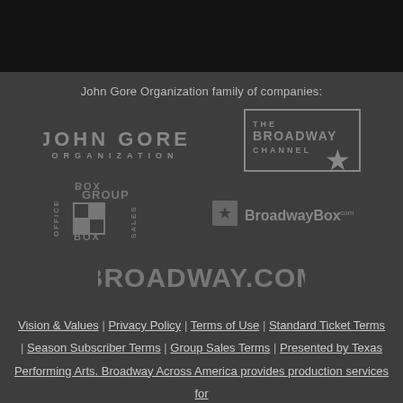John Gore Organization family of companies:
[Figure (logo): John Gore Organization logo - bold text JOHN GORE on top, ORGANIZATION below in spaced letters]
[Figure (logo): The Broadway Channel logo - bordered box with THE BROADWAY CHANNEL text and star]
[Figure (logo): Office Box Group Sales logo with grid/box design]
[Figure (logo): BroadwayBox.com logo with star icon]
[Figure (logo): Broadway.com logo in large bold letters]
Vision & Values | Privacy Policy | Terms of Use | Standard Ticket Terms | Season Subscriber Terms | Group Sales Terms | Presented by Texas Performing Arts. Broadway Across America provides production services for Texas Performing Arts. Sales tax exempt pursuant to Texas Tax Code Section